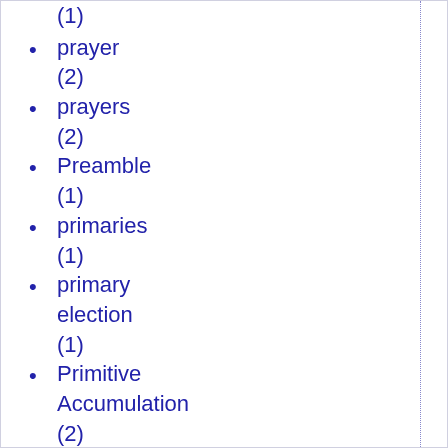(1)
prayer (2)
prayers (2)
Preamble (1)
primaries (1)
primary election (1)
Primitive Accumulation (2)
Primitivism (1)
principle (1)
privacy (2)
pro choice (1)
pro